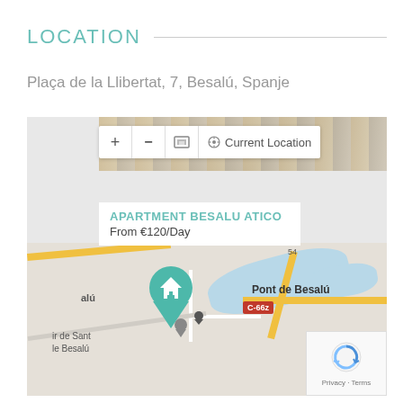LOCATION
Plaça de la Llibertat, 7, Besalú, Spanje
[Figure (map): Google Maps screenshot showing location of Apartment Besalu Atico at Plaça de la Llibertat, 7, Besalú, Spanje. Map shows Pont de Besalú, C-66z road, and surrounding streets. A teal map pin with a house icon marks the apartment location. Map controls show +, -, satellite view toggle, and Current Location button. A property photo strip is visible at the top with an info box showing 'APARTMENT BESALU ATICO' and 'From €120/Day'. A reCAPTCHA badge and Privacy/Terms links appear in the bottom right.]